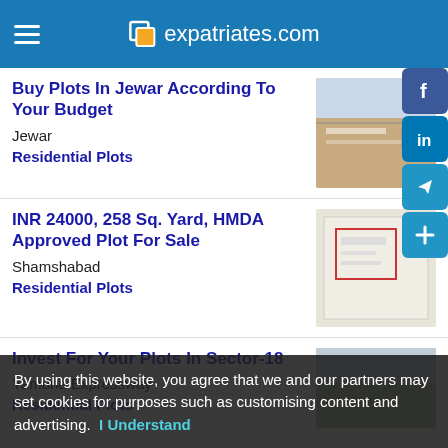expatriates.com
Buy Plots In Jewar According To Your Budget
Jewar
Residential Plots
INR 24000, 258 Sq. Yard, HMDA Approved Plot For Sale
Shamshabad
Residential Plots
Invest For Your Plots In Sector-18
Yamuna Expressway
Residential Plots
By using this website, you agree that we and our partners may set cookies for purposes such as customising content and advertising.  I Understand